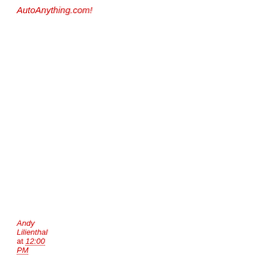AutoAnything.com!
Andy Lilienthal at 12:00 PM